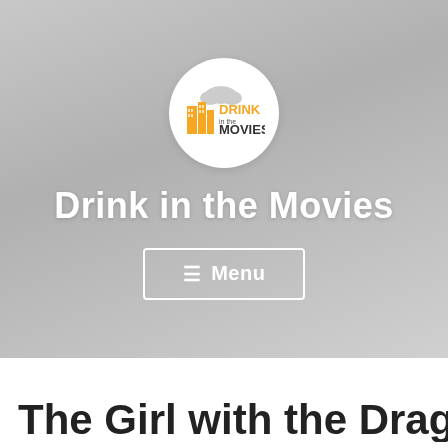[Figure (logo): Drink in the Movies logo inside a white circle: a city buildings silhouette with a film/drink icon on the left, and 'DRINK in the MOVIES' text in orange/dark on the right, over a gray gradient hero banner]
Drink in the Movies
☰ Menu
The Girl with the Dragon